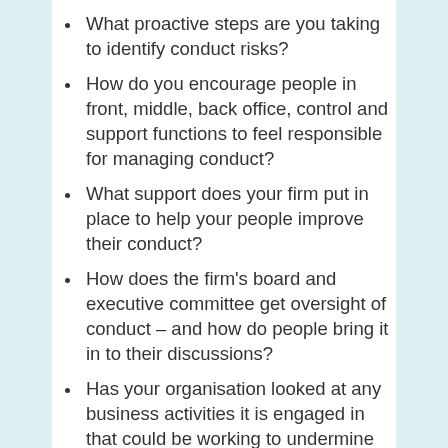What proactive steps are you taking to identify conduct risks?
How do you encourage people in front, middle, back office, control and support functions to feel responsible for managing conduct?
What support does your firm put in place to help your people improve their conduct?
How does the firm's board and executive committee get oversight of conduct – and how do people bring it in to their discussions?
Has your organisation looked at any business activities it is engaged in that could be working to undermine